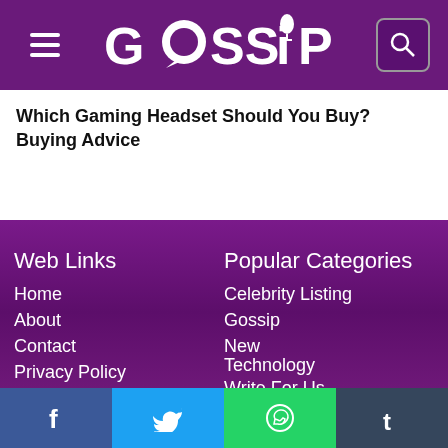GOSSIP
Which Gaming Headset Should You Buy? Buying Advice
Web Links
Home
About
Contact
Privacy Policy
Popular Categories
Celebrity Listing
Gossip
New
Technology
Write For Us
Contact Us
info@gossip.pk
Social Links
Facebook | Twitter | WhatsApp | Tumblr